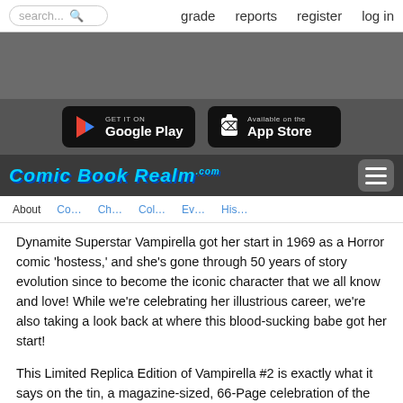search...  grade  reports  register  log in
[Figure (screenshot): Google Play store badge button]
[Figure (screenshot): App Store badge button]
[Figure (logo): Comic Book Realm .com logo with hamburger menu]
About  Co...  Ch...  Col...  Ev...  His...
Dynamite Superstar Vampirella got her start in 1969 as a Horror comic 'hostess,' and she's gone through 50 years of story evolution since to become the iconic character that we all know and love! While we're celebrating her illustrious career, we're also taking a look back at where this blood-sucking babe got her start!
This Limited Replica Edition of Vampirella #2 is exactly what it says on the tin, a magazine-sized, 66-Page celebration of the Daugher of Draculon's second time in print! This special reprint includes every story and even advertisements exactly as they looked half a century ago! Warren's sharp-eyed editors assembled the best talents across the world to write and draw timeless stories, including Forest J. Ackerman, Don Glut, Nicola Cuti, Mike Royer, Ernie Colon, Billy Graham, and More! This issue features historic first appearances by